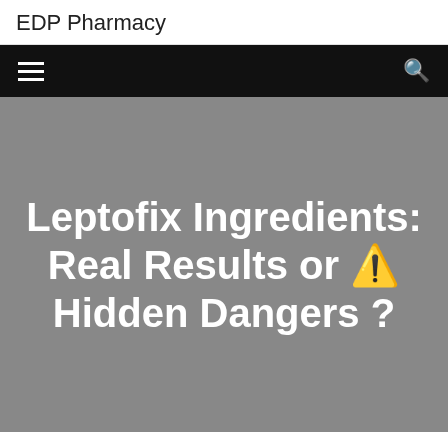EDP Pharmacy
Leptofix Ingredients: Real Results or ⚠ Hidden Dangers ?